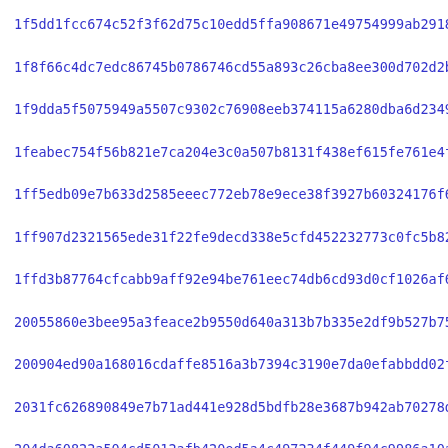1f5dd1fcc674c52f3f62d75c10edd5ffa908671e49754999ab2918e950938
1f8f66c4dc7edc86745b0786746cd55a893c26cba8ee300d702d2b2755994
1f9dda5f5075949a5507c9302c76908eeb374115a6280dba6d23491468480
1feabec754f56b821e7ca204e3c0a507b8131f438ef615fe761e4f40723e5
1ff5edb09e7b633d2585eeec772eb78e9ece38f3927b60324176f60de0058
1ff907d2321565ede31f22fe9decd338e5cfd452232773c0fc5b826adc5f2
1ffd3b87764cfcabb9aff92e94be761eec74db6cd93d0cf1026af61463498
20055860e3bee95a3feace2b9550d640a313b7b335e2df9b527b75fa98c88
200904ed90a168016cdaffe8516a3b7394c3190e7da0efabbdd02f6f617d5
2031fc626890849e7b71ad441e928d5bdfb28e3687b942ab70278d9f07086
204da60822a504cd5012afb420ed5a4c497234f449f94c9986a10a1b65c21